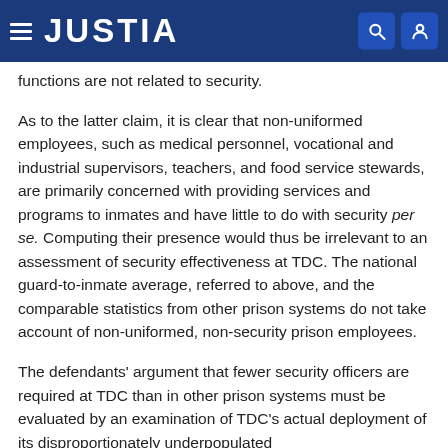JUSTIA
functions are not related to security.
As to the latter claim, it is clear that non-uniformed employees, such as medical personnel, vocational and industrial supervisors, teachers, and food service stewards, are primarily concerned with providing services and programs to inmates and have little to do with security per se. Computing their presence would thus be irrelevant to an assessment of security effectiveness at TDC. The national guard-to-inmate average, referred to above, and the comparable statistics from other prison systems do not take account of non-uniformed, non-security prison employees.
The defendants' argument that fewer security officers are required at TDC than in other prison systems must be evaluated by an examination of TDC's actual deployment of its disproportionately underpopulated